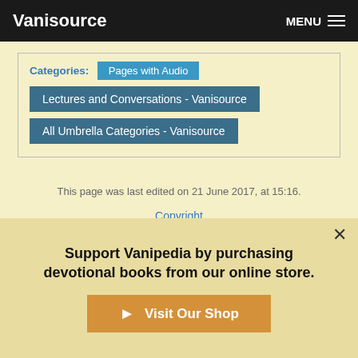Vanisource | MENU
Categories: Pages with Audio
Lectures and Conversations - Vanisource
All Umbrella Categories - Vanisource
This page was last edited on 21 June 2017, at 15:16.
Copyright
Privacy policy
About Vanisource
Disclaimers
[Figure (logo): Powered By MediaWiki logo badge]
[Figure (logo): Semantic MediaWiki logo badge]
Support Vanipedia by purchasing devotional books from our online store.
Visit Our Shop